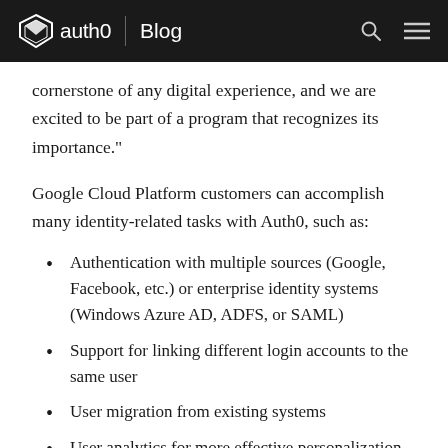auth0 | Blog
cornerstone of any digital experience, and we are excited to be part of a program that recognizes its importance."
Google Cloud Platform customers can accomplish many identity-related tasks with Auth0, such as:
Authentication with multiple sources (Google, Facebook, etc.) or enterprise identity systems (Windows Azure AD, ADFS, or SAML)
Support for linking different login accounts to the same user
User migration from existing systems
User analytics for more effective personalization